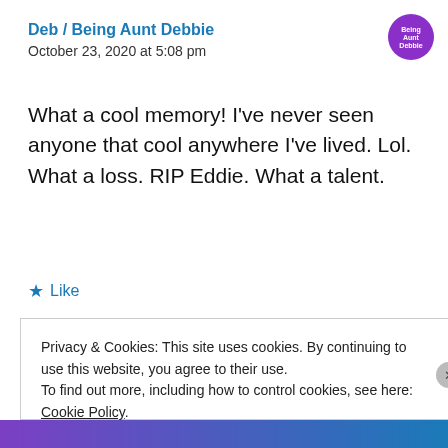Deb / Being Aunt Debbie
October 23, 2020 at 5:08 pm
What a cool memory! I've never seen anyone that cool anywhere I've lived. Lol. What a loss. RIP Eddie. What a talent.
Like
Privacy & Cookies: This site uses cookies. By continuing to use this website, you agree to their use.
To find out more, including how to control cookies, see here: Cookie Policy
Close and accept